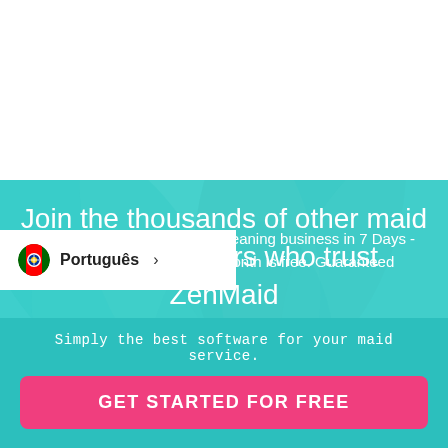[Figure (photo): Teal-tinted floral background with large flower petals]
Join the thousands of other maid service owners who trust ZenMaid
Português >
cleaning business in 7 Days - month is free. Guaranteed
Simply the best software for your maid service.
GET STARTED FOR FREE